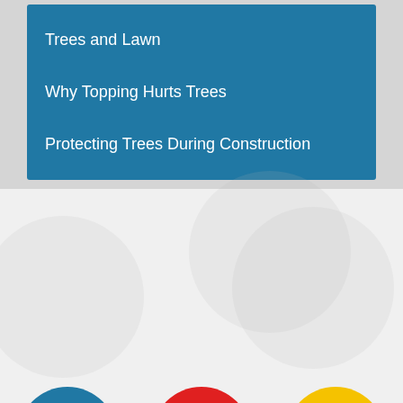Trees and Lawn
Why Topping Hurts Trees
Protecting Trees During Construction
[Figure (infographic): Blue circle icon with credit card / payment terminal symbol, labeled ONLINE PAYMENTS]
[Figure (infographic): Red circle icon with paper airplane / send symbol, labeled NOTIFY ME]
[Figure (infographic): Yellow circle icon with signpost / street sign symbol, labeled MAIN STREET]
[Figure (infographic): Yellow circle icon with notepad / feedback form symbol, labeled FEEDBACK]
[Figure (infographic): Blue circle icon with door symbol, labeled BRIEFING ROOM]
[Figure (infographic): Red circle icon with line chart / benchmarks symbol, labeled BENCHMARKS]